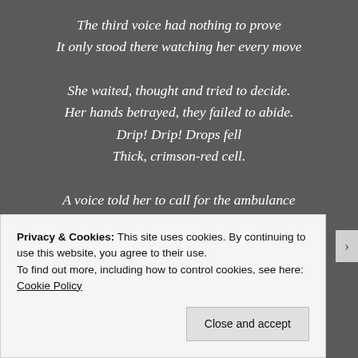The third voice had nothing to prove
It only stood there watching her every move

She waited, thought and tried to decide.
Her hands betrayed, they failed to abide.
Drip! Drip! Drops fell
Thick, crimson-red cell.

A voice told her to call for the ambulance
To stop this madness and the turbulence.
Privacy & Cookies: This site uses cookies. By continuing to use this website, you agree to their use.
To find out more, including how to control cookies, see here: Cookie Policy